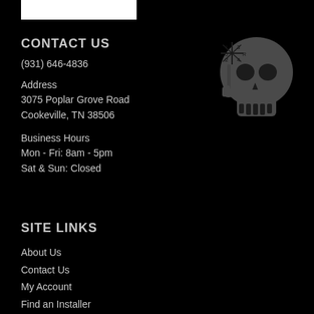[Figure (illustration): White rectangle logo placeholder at top left]
CONTACT US
(931) 646-4836
Address
3075 Poplar Grove Road
Cookeville, TN 38506
Business Hours
Mon - Fri: 8am - 5pm
Sat & Sun: Closed
[Figure (illustration): Skull with gear shift knob illustration in gray on black background, positioned upper right]
SITE LINKS
About Us
Contact Us
My Account
Find an Installer